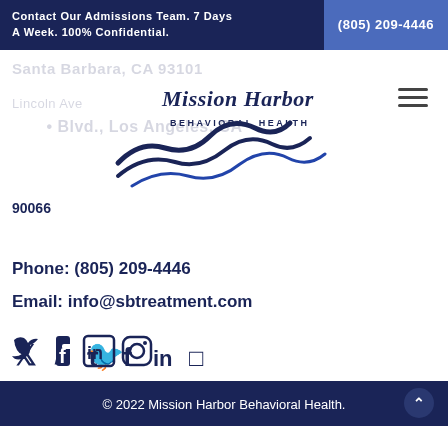Contact Our Admissions Team. 7 Days A Week. 100% Confidential.  (805) 209-4446
[Figure (logo): Mission Harbor Behavioral Health logo with script text and wave graphic in navy blue]
Santa Barbara, CA 93101
Lincoln Ave • Blvd., Los Angeles, CA 90066
Phone: (805) 209-4446
Email: info@sbtreatment.com
[Figure (infographic): Social media icons: Twitter, Facebook, LinkedIn, Instagram in navy blue]
© 2022 Mission Harbor Behavioral Health.